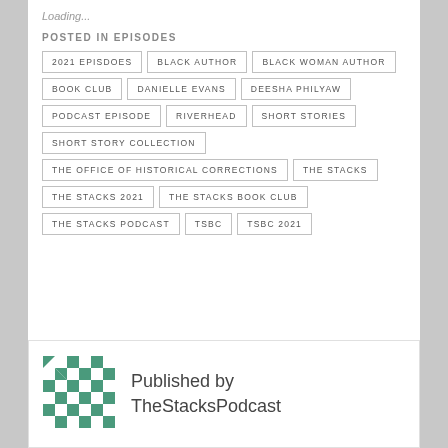Loading...
POSTED IN EPISODES
2021 EPISDOES
BLACK AUTHOR
BLACK WOMAN AUTHOR
BOOK CLUB
DANIELLE EVANS
DEESHA PHILYAW
PODCAST EPISODE
RIVERHEAD
SHORT STORIES
SHORT STORY COLLECTION
THE OFFICE OF HISTORICAL CORRECTIONS
THE STACKS
THE STACKS 2021
THE STACKS BOOK CLUB
THE STACKS PODCAST
TSBC
TSBC 2021
Published by TheStacksPodcast